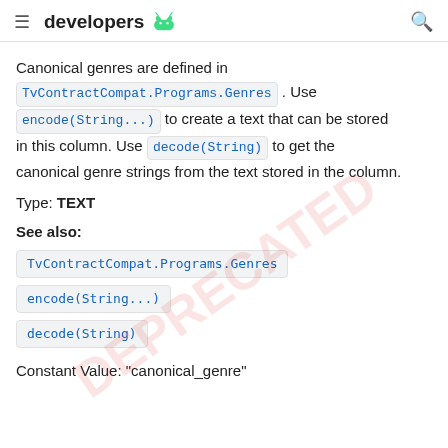≡ developers [android logo] 🔍
Canonical genres are defined in TvContractCompat.Programs.Genres . Use encode(String...) to create a text that can be stored in this column. Use decode(String) to get the canonical genre strings from the text stored in the column.
Type: TEXT
See also:
TvContractCompat.Programs.Genres
encode(String...)
decode(String)
Constant Value: "canonical_genre"